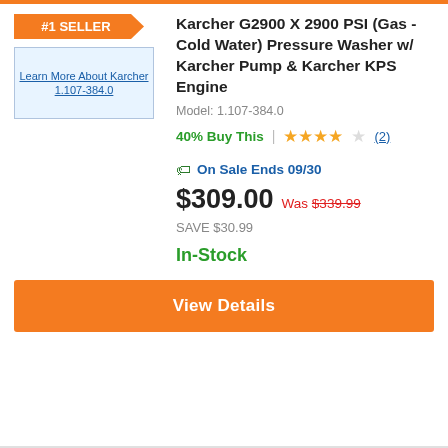[Figure (screenshot): Orange #1 SELLER badge/banner]
[Figure (photo): Product image placeholder: Learn More About Karcher 1.107-384.0]
Karcher G2900 X 2900 PSI (Gas - Cold Water) Pressure Washer w/ Karcher Pump & Karcher KPS Engine
Model: 1.107-384.0
40% Buy This | ★★★★☆ (2)
🏷 On Sale Ends 09/30
$309.00 Was $339.99
SAVE $30.99
In-Stock
View Details